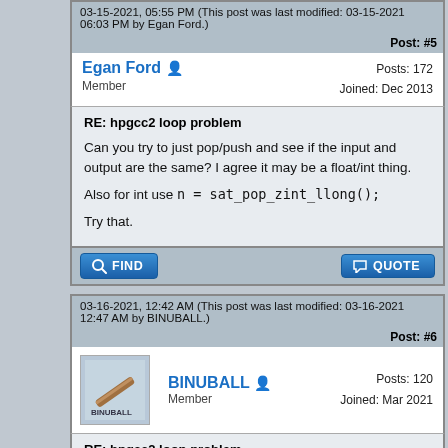03-15-2021, 05:55 PM (This post was last modified: 03-15-2021 06:03 PM by Egan Ford.)
Post: #5
Egan Ford  Posts: 172  Joined: Dec 2013  Member
RE: hpgcc2 loop problem
Can you try to just pop/push and see if the input and output are the same? I agree it may be a float/int thing.

Also for int use n = sat_pop_zint_llong();

Try that.
03-16-2021, 12:42 AM (This post was last modified: 03-16-2021 12:47 AM by BINUBALL.)
Post: #6
BINUBALL  Posts: 120  Joined: Mar 2021  Member
RE: hpgcc2 loop problem